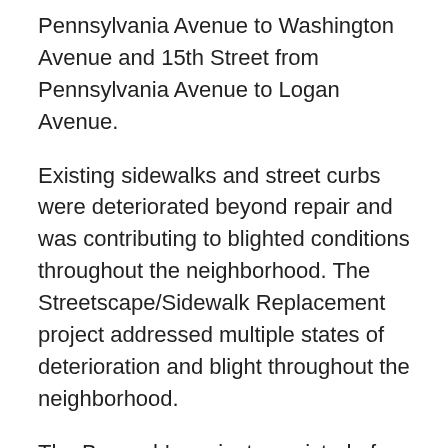Pennsylvania Avenue to Washington Avenue and 15th Street from Pennsylvania Avenue to Logan Avenue.
Existing sidewalks and street curbs were deteriorated beyond repair and was contributing to blighted conditions throughout the neighborhood. The Streetscape/Sidewalk Replacement project addressed multiple states of deterioration and blight throughout the neighborhood.
The Borough's project consisted of new concrete sidewalks and curbing throughout the project area . At intersections, new ADA compliant curb ramps were installed. Where the